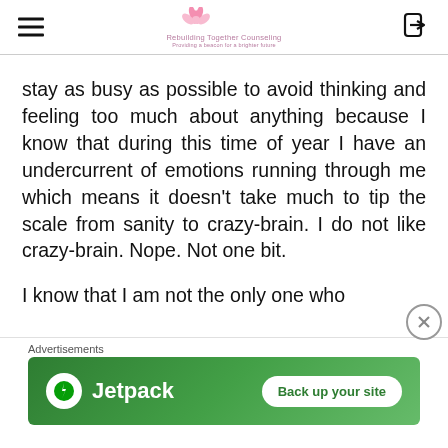Rebuilding Together Counseling
stay as busy as possible to avoid thinking and feeling too much about anything because I know that during this time of year I have an undercurrent of emotions running through me which means it doesn't take much to tip the scale from sanity to crazy-brain. I do not like crazy-brain. Nope. Not one bit.

I know that I am not the only one who
Advertisements
[Figure (screenshot): Jetpack advertisement banner with green background showing Jetpack logo and 'Back up your site' button]